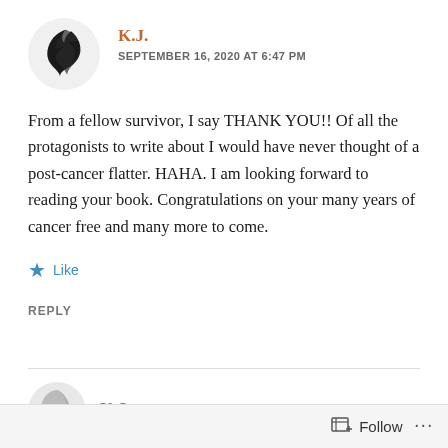[Figure (logo): Decorative black tribal/flame avatar icon for user K.J.]
K.J.
SEPTEMBER 16, 2020 AT 6:47 PM
From a fellow survivor, I say THANK YOU!! Of all the protagonists to write about I would have never thought of a post-cancer flatter. HAHA. I am looking forward to reading your book. Congratulations on your many years of cancer free and many more to come.
Like
REPLY
[Figure (logo): Decorative circular avatar icon for second comment by K.J.]
K.J.